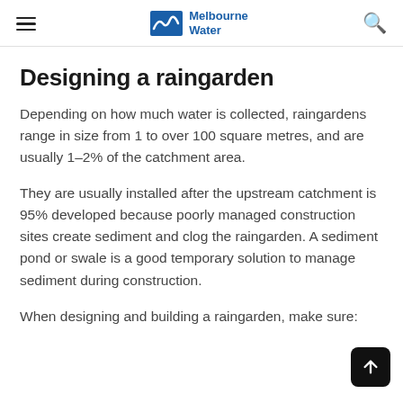Melbourne Water
Designing a raingarden
Depending on how much water is collected, raingardens range in size from 1 to over 100 square metres, and are usually 1–2% of the catchment area.
They are usually installed after the upstream catchment is 95% developed because poorly managed construction sites create sediment and clog the raingarden. A sediment pond or swale is a good temporary solution to manage sediment during construction.
When designing and building a raingarden, make sure: